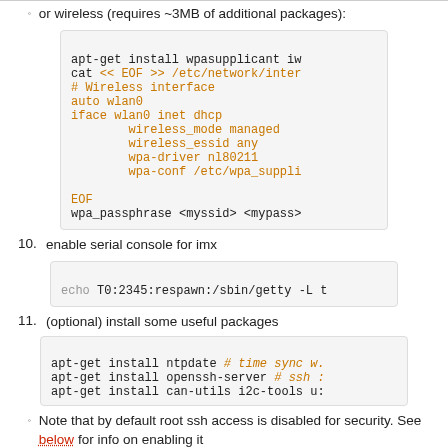or wireless (requires ~3MB of additional packages):
apt-get install wpasupplicant iw
cat << EOF >> /etc/network/inter
# Wireless interface
auto wlan0
iface wlan0 inet dhcp
        wireless_mode managed
        wireless_essid any
        wpa-driver nl80211
        wpa-conf /etc/wpa_suppli

EOF
wpa_passphrase <myssid> <mypass>
10. enable serial console for imx
echo T0:2345:respawn:/sbin/getty -L t
11. (optional) install some useful packages
apt-get install ntpdate # time sync w.
apt-get install openssh-server # ssh :
apt-get install can-utils i2c-tools u:
Note that by default root ssh access is disabled for security. See below for info on enabling it
Note that at this point, prior to exiting the chroot, you